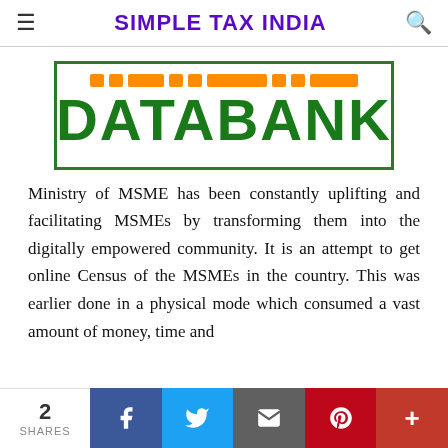SIMPLE TAX INDIA
[Figure (logo): DATABANK logo with orange decorative bars above the text and a green border rectangle. The word DATABANK is in large bold green text.]
Ministry of MSME has been constantly uplifting and facilitating MSMEs by transforming them into the digitally empowered community. It is an attempt to get online Census of the MSMEs in the country. This was earlier done in a physical mode which consumed a vast amount of money, time and
2 SHARES | Facebook | Twitter | Email | Pinterest | More